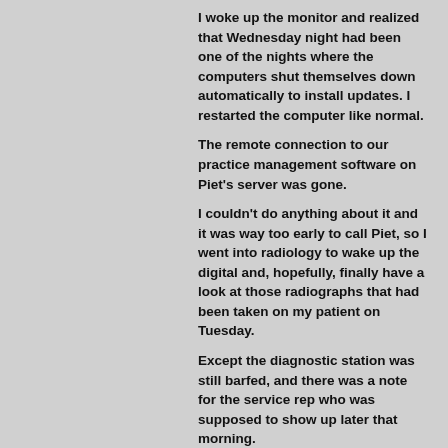I woke up the monitor and realized that Wednesday night had been one of the nights where the computers shut themselves down automatically to install updates. I restarted the computer like normal. The remote connection to our practice management software on Piet's server was gone. I couldn't do anything about it and it was way too early to call Piet, so I went into radiology to wake up the digital and, hopefully, finally have a look at those radiographs that had been taken on my patient on Tuesday. Except the diagnostic station was still barfed, and there was a note for the service rep who was supposed to show up later that morning. I began to have fantasies about hitting myself in the face with an axe.